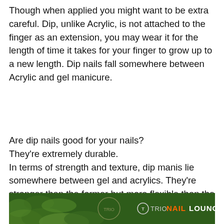Though when applied you might want to be extra careful. Dip, unlike Acrylic, is not attached to the finger as an extension, you may wear it for the length of time it takes for your finger to grow up to a new length. Dip nails fall somewhere between Acrylic and gel manicure.
Are dip nails good for your nails?
They're extremely durable.
In terms of strength and texture, dip manis lie somewhere between gel and acrylics. They're stronger than the former but more flexible than the latter and can last up to a month (especially if you keep your nails and cuticles well-moisturized).
[Figure (photo): Banner at the bottom showing a decorative background with greenery on the left and a Trio Nail Lounge logo with orange and white text on the right against a dark green background.]